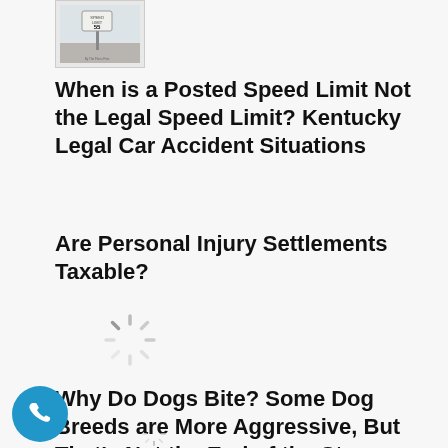[Figure (photo): Thumbnail image of a speed limit sign]
When is a Posted Speed Limit Not the Legal Speed Limit? Kentucky Legal Car Accident Situations
Are Personal Injury Settlements Taxable?
[Figure (other): Loading spinner icon (grey dashed circle)]
Why Do Dogs Bite? Some Dog Breeds are More Aggressive, But That’s Not the End of the Story
[Figure (other): Phone call button (blue circle with phone icon)]
[Figure (other): Partial loading spinner at the bottom of the page]